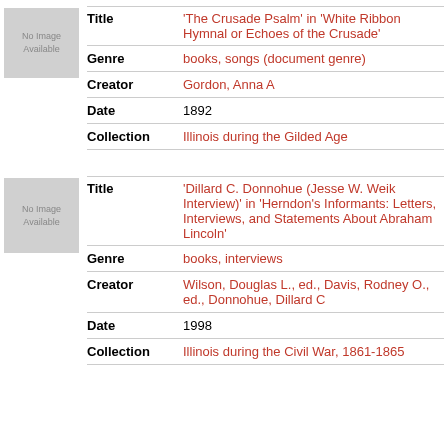| Field | Value |
| --- | --- |
| Title | 'The Crusade Psalm' in 'White Ribbon Hymnal or Echoes of the Crusade' |
| Genre | books, songs (document genre) |
| Creator | Gordon, Anna A |
| Date | 1892 |
| Collection | Illinois during the Gilded Age |
| Field | Value |
| --- | --- |
| Title | 'Dillard C. Donnohue (Jesse W. Weik Interview)' in 'Herndon's Informants: Letters, Interviews, and Statements About Abraham Lincoln' |
| Genre | books, interviews |
| Creator | Wilson, Douglas L., ed., Davis, Rodney O., ed., Donnohue, Dillard C |
| Date | 1998 |
| Collection | Illinois during the Civil War, 1861-1865 |